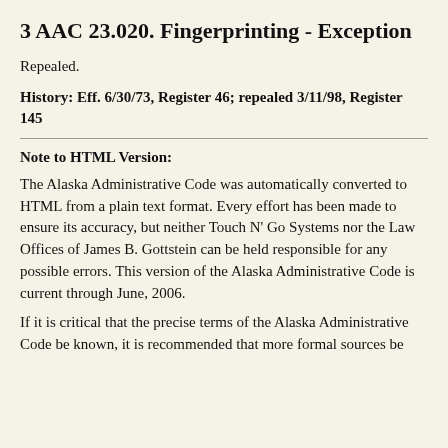3 AAC 23.020. Fingerprinting - Exception
Repealed.
History: Eff. 6/30/73, Register 46; repealed 3/11/98, Register 145
Note to HTML Version:
The Alaska Administrative Code was automatically converted to HTML from a plain text format. Every effort has been made to ensure its accuracy, but neither Touch N' Go Systems nor the Law Offices of James B. Gottstein can be held responsible for any possible errors. This version of the Alaska Administrative Code is current through June, 2006.
If it is critical that the precise terms of the Alaska Administrative Code be known, it is recommended that more formal sources be